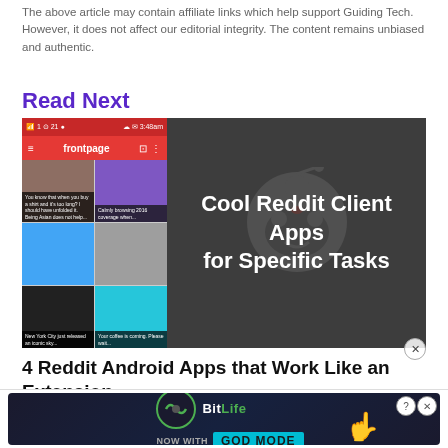The above article may contain affiliate links which help support Guiding Tech. However, it does not affect our editorial integrity. The content remains unbiased and authentic.
Read Next
[Figure (screenshot): Screenshot of a Reddit Android app (frontpage) on the left showing a grid of posts, and a dark panel on the right with text 'Cool Reddit Client Apps for Specific Tasks' with a Reddit alien logo watermark.]
4 Reddit Android Apps that Work Like an Extension
Reddit is one of the best places on the internet where you ca... live fun, in...
[Figure (infographic): Advertisement banner for BitLife app: 'NOW WITH GOD MODE' with close buttons.]